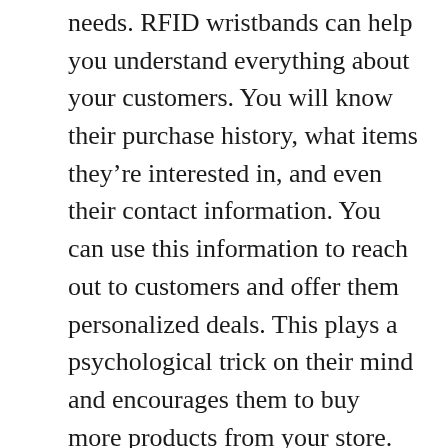needs. RFID wristbands can help you understand everything about your customers. You will know their purchase history, what items they're interested in, and even their contact information. You can use this information to reach out to customers and offer them personalized deals. This plays a psychological trick on their mind and encourages them to buy more products from your store. You can also use this information to invite customers to exclusive events or product launches. This will make them feel special and appreciated, and they're more likely to become loyal customers.
RFID tags are classified according to their